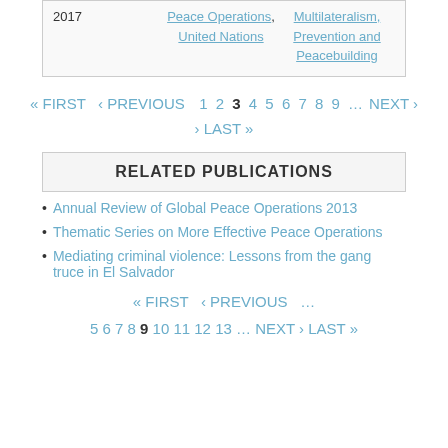| Year | Topic 1 | Topic 2 |
| --- | --- | --- |
| 2017 | Peace Operations, United Nations | Multilateralism, Prevention and Peacebuilding |
« FIRST ‹ PREVIOUS 1 2 3 4 5 6 7 8 9 … NEXT › LAST »
RELATED PUBLICATIONS
Annual Review of Global Peace Operations 2013
Thematic Series on More Effective Peace Operations
Mediating criminal violence: Lessons from the gang truce in El Salvador
« FIRST ‹ PREVIOUS … 5 6 7 8 9 10 11 12 13 … NEXT › LAST »